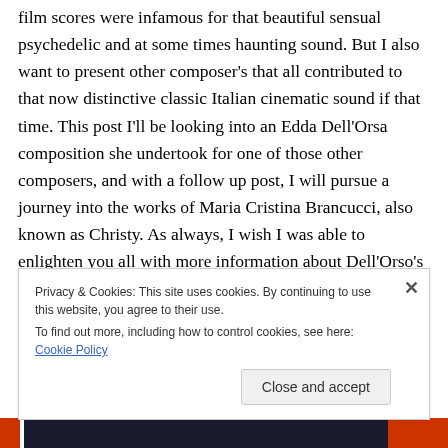film scores were infamous for that beautiful sensual psychedelic and at some times haunting sound. But I also want to present other composer's that all contributed to that now distinctive classic Italian cinematic sound if that time. This post I'll be looking into an Edda Dell'Orsa composition she undertook for one of those other composers, and with a follow up post, I will pursue a journey into the works of Maria Cristina Brancucci, also known as Christy. As always, I wish I was able to enlighten you all with more information about Dell'Orso's musical journey, but facts and life details are a little mysterious and
Privacy & Cookies: This site uses cookies. By continuing to use this website, you agree to their use.
To find out more, including how to control cookies, see here: Cookie Policy